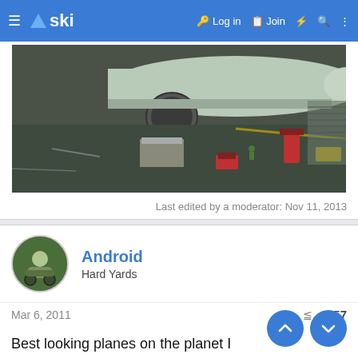ski — Log in  Join
[Figure (photo): Aerial view of an airport tarmac with a large passenger aircraft, ground crew, baggage carts and equipment visible on the ground]
Last edited by a moderator: Nov 11, 2013
Android
Hard Yards
Mar 6, 2011  #857
Best looking planes on the planet I reckon......nothing to do with the paint job but all due to the promised destination!